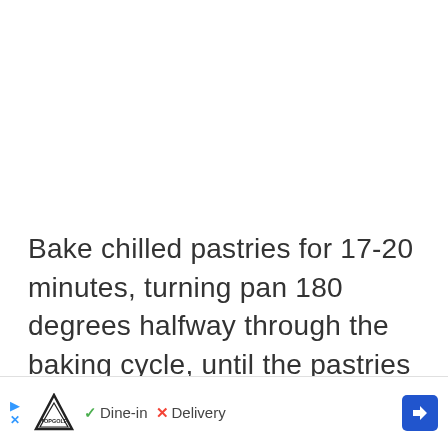Bake chilled pastries for 17-20 minutes, turning pan 180 degrees halfway through the baking cycle, until the pastries turn a deep golden brown.  In France the pastries would be baked until dark brown, but the painted images wont be as vibrant if the pastry gets [too dark/darker colored].
[Figure (other): Advertisement bar at bottom: Topgolf logo with play icon and X icon, checkmark Dine-in, X Delivery, blue navigation arrow icon]